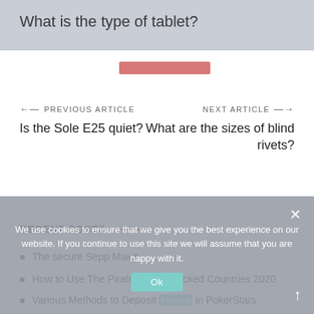What is the type of tablet?
[Figure (other): Pink/red horizontal bar below header]
← PREVIOUS ARTICLE
Is the Sole E25 quiet?
NEXT ARTICLE →
What are the sizes of blind rivets?
RECENT POSTS
The secure Sepp Maier
How to Use The Pirate Bay in Blocked Countries 2020
Various Methods to Deposit Money in PokerStars
We use cookies to ensure that we give you the best experience on our website. If you continue to use this site we will assume that you are happy with it.